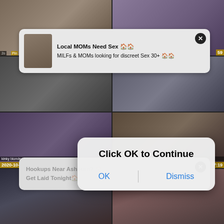[Figure (screenshot): Video thumbnail grid with adult content website UI showing multiple video thumbnails in a 2-column grid layout]
Local MOMs Need Sex 🏠🏠
MILFs & MOMs looking for discreet Sex 30+ 🏠🏠
Hookups Near Ashburn? 🏠
Get Laid Tonight🏠
Click OK to Continue
OK
Dismiss
2020-10-10
kinky blonde wife having multiple
Парень с накаченными ногами дрочит
59
7:19